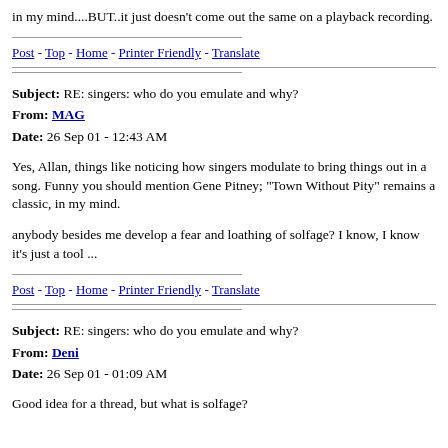in my mind....BUT..it just doesn't come out the same on a playback recording.
Post - Top - Home - Printer Friendly - Translate
Subject: RE: singers: who do you emulate and why?
From: MAG
Date: 26 Sep 01 - 12:43 AM
Yes, Allan, things like noticing how singers modulate to bring things out in a song. Funny you should mention Gene Pitney; "Town Without Pity" remains a classic, in my mind.
anybody besides me develop a fear and loathing of solfage? I know, I know it's just a tool ...
Post - Top - Home - Printer Friendly - Translate
Subject: RE: singers: who do you emulate and why?
From: Deni
Date: 26 Sep 01 - 01:09 AM
Good idea for a thread, but what is solfage?